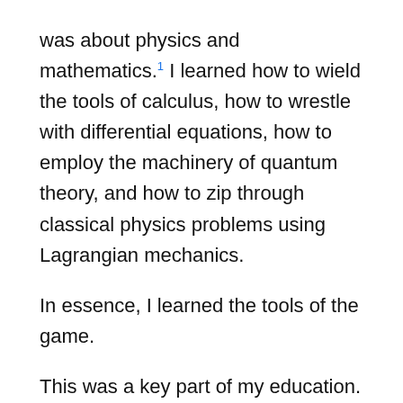was about physics and mathematics.¹ I learned how to wield the tools of calculus, how to wrestle with differential equations, how to employ the machinery of quantum theory, and how to zip through classical physics problems using Lagrangian mechanics.
In essence, I learned the tools of the game.
This was a key part of my education. It gave me the bedrock for graduate studies. I became proficient at performing calculations that every physicist should know, and I absorbed a lot of facts. I worked through proofs, and sweated the details.